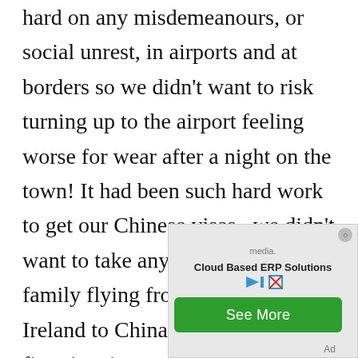hard on any misdemeanours, or social unrest, in airports and at borders so we didn't want to risk turning up to the airport feeling worse for wear after a night on the town! It had been such hard work to get our Chinese visas,  we didn't want to take any risk. We all had family flying from the UK and Ireland to China to meet for the first time in a year, so the whole Olympic event was one big happy reunion. On the way to a family
[Figure (other): Advertisement overlay showing 'Cloud Based ERP Solutions' with a See More button and media content behind it. Labeled 'Ad' in the bottom right.]